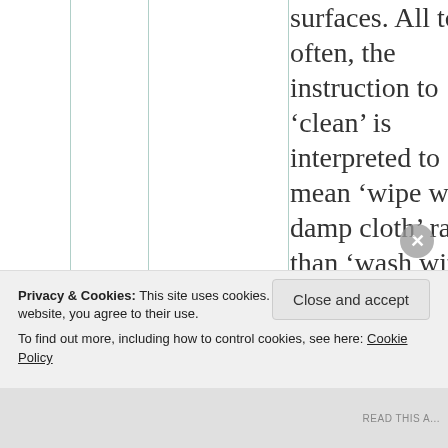surfaces. All too often, the instruction to ‘clean’ is interpreted to mean ‘wipe with a damp cloth’ rather than ‘wash with
Privacy & Cookies: This site uses cookies. By continuing to use this website, you agree to their use. To find out more, including how to control cookies, see here: Cookie Policy
Close and accept